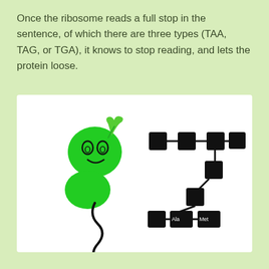Once the ribosome reads a full stop in the sentence, of which there are three types (TAA, TAG, or TGA), it knows to stop reading, and lets the protein loose.
[Figure (illustration): Hand-drawn illustration showing a green cartoon ribosome character with eyes and a smile on the left, with a wavy black mRNA strand below it, and a chain of black square amino acid blocks forming an L-shaped protein chain on the right, with labels 'Ala' and 'Met' on the last two blocks.]